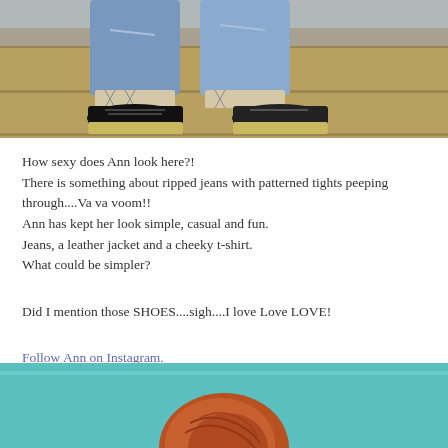[Figure (photo): Photo of person wearing ripped jeans with patterned tights and black platform shoes on wooden steps]
How sexy does Ann look here?!
There is something about ripped jeans with patterned tights peeping through....Va va voom!!
Ann has kept her look simple, casual and fun.
Jeans, a leather jacket and a cheeky t-shirt.
What could be simpler?
Did I mention those SHOES....sigh....I love Love LOVE!
Follow Ann on Instagram.
[Figure (photo): Photo of woman with red/auburn hair against teal background, partially visible]